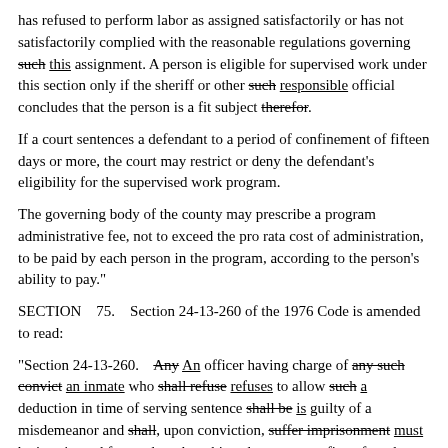has refused to perform labor as assigned satisfactorily or has not satisfactorily complied with the reasonable regulations governing such this assignment. A person is eligible for supervised work under this section only if the sheriff or other such responsible official concludes that the person is a fit subject therefor.
If a court sentences a defendant to a period of confinement of fifteen days or more, the court may restrict or deny the defendant's eligibility for the supervised work program.
The governing body of the county may prescribe a program administrative fee, not to exceed the pro rata cost of administration, to be paid by each person in the program, according to the person's ability to pay."
SECTION    75.    Section 24-13-260 of the 1976 Code is amended to read:
"Section 24-13-260.    Any An officer having charge of any such convict an inmate who shall refuse refuses to allow such a deduction in time of serving sentence shall be is guilty of a misdemeanor and shall, upon conviction, suffer imprisonment must be imprisoned for not less than thirty days or pay a fine of not less than one hundred dollars."
SECTION    76.    Section 24-13-410 of the 1976 Code is amended